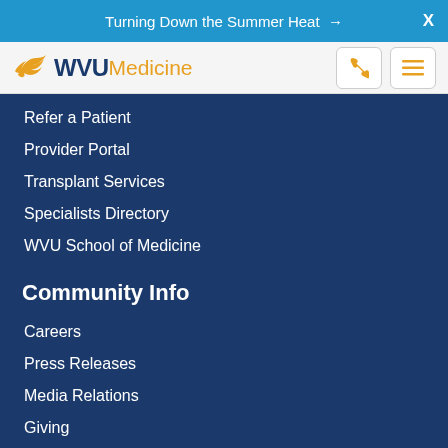Turning Down the Summer Heat →   X
[Figure (logo): WVU Medicine logo with flying WV bird in gold, WVU in navy bold, Medicine in gold, plus phone and hamburger menu icons]
Refer a Patient
Provider Portal
Transplant Services
Specialists Directory
WVU School of Medicine
Community Info
Careers
Press Releases
Media Relations
Giving
About WVU Medicine
About WVU Medicine
Mission, Leadership & More
Rights, Privacy & Non-discrimination
Disclaimer